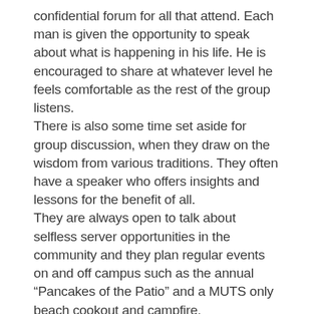confidential forum for all that attend. Each man is given the opportunity to speak about what is happening in his life. He is encouraged to share at whatever level he feels comfortable as the rest of the group listens. There is also some time set aside for group discussion, when they draw on the wisdom from various traditions. They often have a speaker who offers insights and lessons for the benefit of all. They are always open to talk about selfless server opportunities in the community and they plan regular events on and off campus such as the annual “Pancakes of the Patio” and a MUTS only beach cookout and campfire. Second and Fourth Tuesdays, 6:30 – 9 p.m., love offering. Victoria House. Contact: unity@unitytustin.org for more